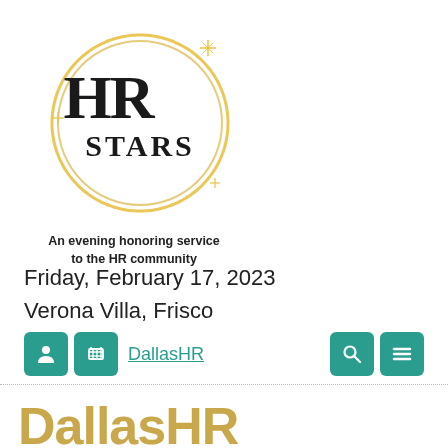[Figure (logo): HR Stars logo: golden circular swirl with sparkle accents containing black serif text 'HR STARS']
An evening honoring service to the HR community
Friday, February 17, 2023
Verona Villa, Frisco
[Figure (screenshot): Navigation bar with teal icon buttons (user, cart, search, menu) and DallasHR link]
DallasHR